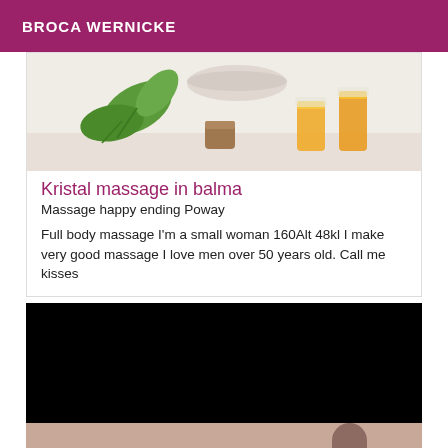BROCA WERNICKE
[Figure (photo): Massage oils and herbs — green leaves, small brown cube, and two glasses of golden oil on a light wooden surface]
Kristal massage in balma
Massage happy ending Poway
Full body massage I'm a small woman 160Alt 48kl I make very good massage I love men over 50 years old. Call me kisses
[Figure (photo): Bottom portion: black rectangle (redacted/censored area) above a skin-toned strip showing partial body during massage]